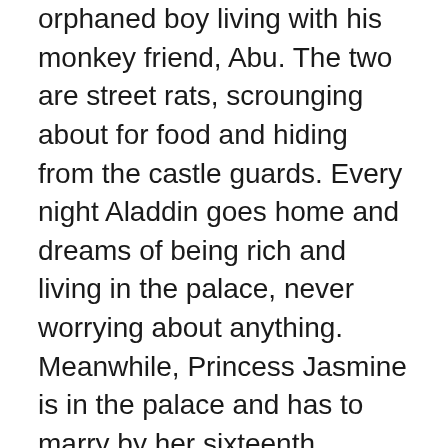orphaned boy living with his monkey friend, Abu. The two are street rats, scrounging about for food and hiding from the castle guards. Every night Aladdin goes home and dreams of being rich and living in the palace, never worrying about anything. Meanwhile, Princess Jasmine is in the palace and has to marry by her sixteenth birthday. She hates every prince that has called on her and she feels they all are after her fortune. Also in the palace lurks Jafar, the evil vizier, who wants to take the throne for himself. He also is trying to get inside the fabled Cave of Wonders to get a lamp, but only a pure-hearted, diamond in the rough can enter. These three stories intersect when Jasmine sneaks out of the palace, only to be helped by Aladdin when she gets into trouble. The two run from guards and are caught, Jasmine revealing herself and going home, while Aladdin is sent to the dungeon. Jafar disguises himself and frees Aladdin convinced he is the